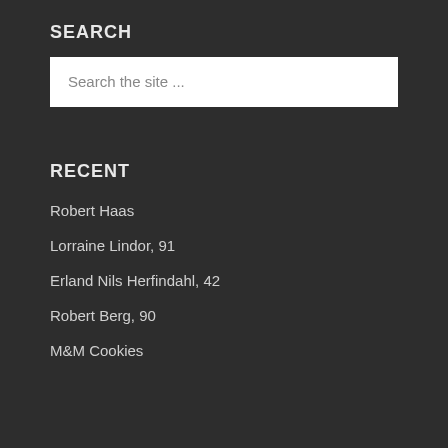SEARCH
Search the site ...
RECENT
Robert Haas
Lorraine Lindor, 91
Erland Nils Herfindahl, 42
Robert Berg, 90
M&M Cookies